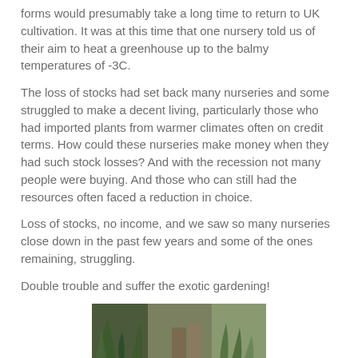forms would presumably take a long time to return to UK cultivation. It was at this time that one nursery told us of their aim to heat a greenhouse up to the balmy temperatures of -3C.
The loss of stocks had set back many nurseries and some struggled to make a decent living, particularly those who had imported plants from warmer climates often on credit terms. How could these nurseries make money when they had such stock losses? And with the recession not many people were buying. And those who can still had the resources often faced a reduction in choice.
Loss of stocks, no income, and we saw so many nurseries close down in the past few years and some of the ones remaining, struggling.
Double trouble and suffer the exotic gardening!
[Figure (photo): A photograph of nursery plants and greenhouse shelving with various exotic plants visible.]